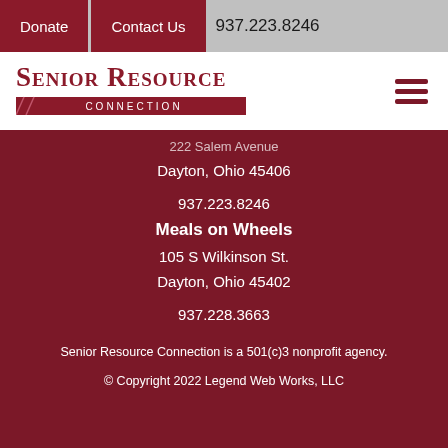Donate  Contact Us  937.223.8246
[Figure (logo): Senior Resource Connection logo with dark red text and horizontal bar reading CONNECTION]
222 Salem Avenue
Dayton, Ohio 45406
937.223.8246
Meals on Wheels
105 S Wilkinson St.
Dayton, Ohio 45402
937.228.3663
Senior Resource Connection is a 501(c)3 nonprofit agency.
© Copyright 2022 Legend Web Works, LLC